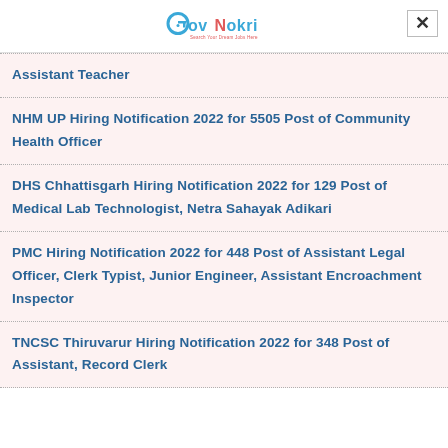GovNokri - Search Your Dream Jobs Here
Assistant Teacher
NHM UP Hiring Notification 2022 for 5505 Post of Community Health Officer
DHS Chhattisgarh Hiring Notification 2022 for 129 Post of Medical Lab Technologist, Netra Sahayak Adikari
PMC Hiring Notification 2022 for 448 Post of Assistant Legal Officer, Clerk Typist, Junior Engineer, Assistant Encroachment Inspector
TNCSC Thiruvarur Hiring Notification 2022 for 348 Post of Assistant, Record Clerk